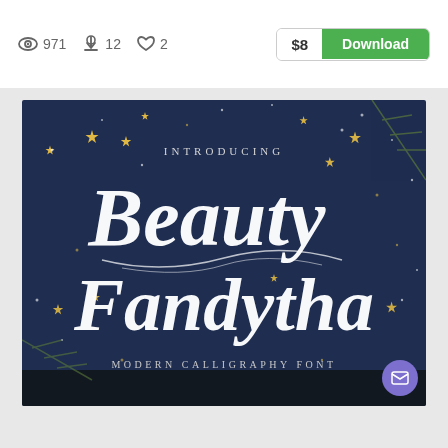971  12  2
$8  Download
[Figure (illustration): Font product preview image on dark navy blue background with gold stars and pine branch decorations. Shows 'INTRODUCING' in small caps at top, then large decorative calligraphy script reading 'Beauty Fandytha', with 'MODERN CALLIGRAPHY FONT' in small caps at bottom.]